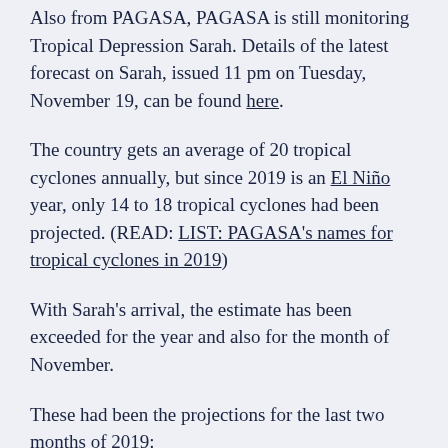Also from PAGASA, PAGASA is still monitoring Tropical Depression Sarah. Details of the latest forecast on Sarah, issued 11 pm on Tuesday, November 19, can be found here.
The country gets an average of 20 tropical cyclones annually, but since 2019 is an El Niño year, only 14 to 18 tropical cyclones had been projected. (READ: LIST: PAGASA's names for tropical cyclones in 2019)
With Sarah's arrival, the estimate has been exceeded for the year and also for the month of November.
These had been the projections for the last two months of 2019:
November – 1 or 2